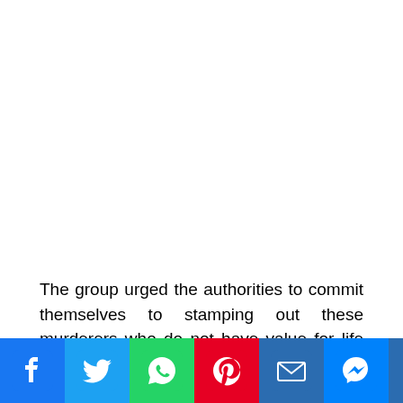The group urged the authorities to commit themselves to stamping out these murderers who do not have value for life before they completely consume the entire North in particular and Nigeria as a nation, if Nigeria is not [continued...]
[Figure (infographic): Social media sharing bar with Facebook, Twitter, WhatsApp, Pinterest, Email, Messenger, and Share buttons]